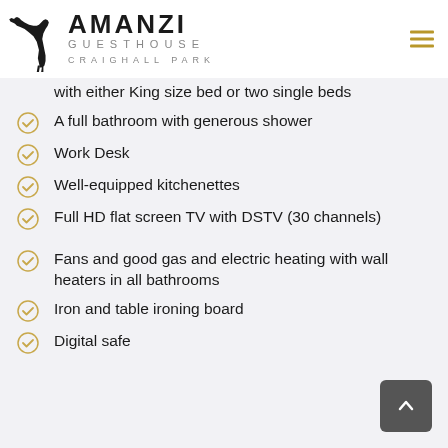[Figure (logo): Amanzi Guesthouse Craighall Park logo with ibis bird silhouette]
with either King size bed or two single beds
A full bathroom with generous shower
Work Desk
Well-equipped kitchenettes
Full HD flat screen TV with DSTV (30 channels)
Fans and good gas and electric heating with wall heaters in all bathrooms
Iron and table ironing board
Digital safe